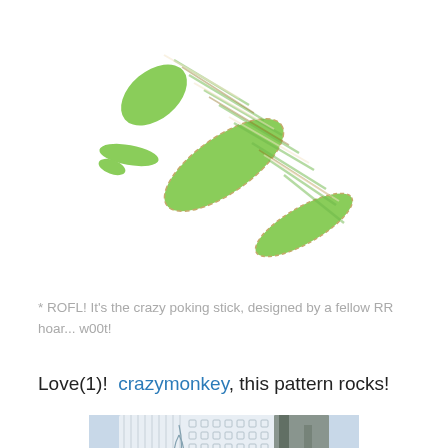[Figure (photo): A knitted lizard/gecko shape made from variegated green, brown, and cream yarn, photographed on a white background.]
* ROFL! It's the crazy poking stick, designed by a fellow RR hoar... w00t!
Love(1)!  crazymonkey, this pattern rocks!
[Figure (photo): A white lace knitted shawl or garment with intricate openwork pattern, photographed outdoors.]